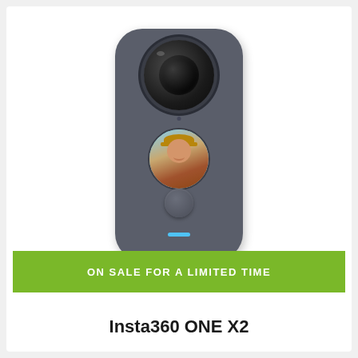[Figure (photo): Insta360 ONE X2 camera product photo — a compact dark gray rounded rectangular action camera with a large fisheye lens at the top, a round touchscreen in the middle displaying a smiling woman with a hat and a hot air balloon in a blue sky background, a round shutter button near the bottom, and a small blue LED indicator strip at the bottom.]
ON SALE FOR A LIMITED TIME
Insta360 ONE X2